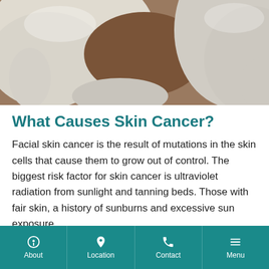[Figure (photo): Medical professional wearing white gloves examining dark skin, close-up view]
What Causes Skin Cancer?
Facial skin cancer is the result of mutations in the skin cells that cause them to grow out of control. The biggest risk factor for skin cancer is ultraviolet radiation from sunlight and tanning beds. Those with fair skin, a history of sunburns and excessive sun exposure,
About | Location | Contact | Menu